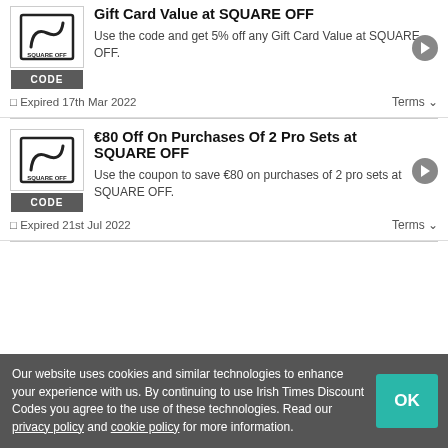Gift Card Value at SQUARE OFF
Use the code and get 5% off any Gift Card Value at SQUARE OFF.
Expired 17th Mar 2022   Terms
€80 Off On Purchases Of 2 Pro Sets at SQUARE OFF
Use the coupon to save €80 on purchases of 2 pro sets at SQUARE OFF.
Expired 21st Jul 2022   Terms
Our website uses cookies and similar technologies to enhance your experience with us. By continuing to use Irish Times Discount Codes you agree to the use of these technologies. Read our privacy policy and cookie policy for more information.